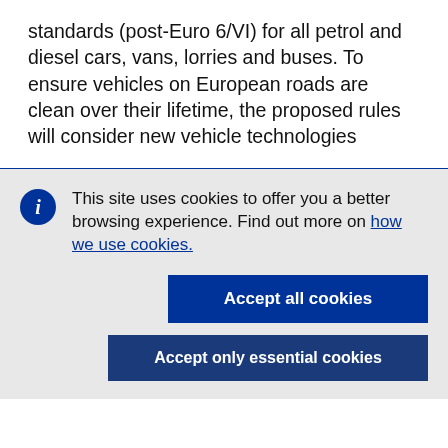standards (post-Euro 6/VI) for all petrol and diesel cars, vans, lorries and buses. To ensure vehicles on European roads are clean over their lifetime, the proposed rules will consider new vehicle technologies
This site uses cookies to offer you a better browsing experience. Find out more on how we use cookies.
Accept all cookies
Accept only essential cookies